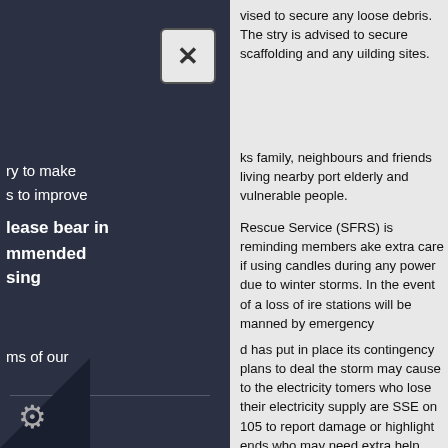vised to secure any loose debris. The stry is advised to secure scaffolding and any uilding sites.
ry to make s to improve
ks family, neighbours and friends living nearby port elderly and vulnerable people.
lease bear in mmended sing
Rescue Service (SFRS) is reminding members ake extra care if using candles during any power due to winter storms. In the event of a loss of ire stations will be manned by emergency
ms of our
d has put in place its contingency plans to deal the storm may cause to the electricity tomers who lose their electricity supply are SSE on 105 to report damage or highlight ends who may need extra help.
e subject to possible further
rovided via the Public Information section of vebsite at: